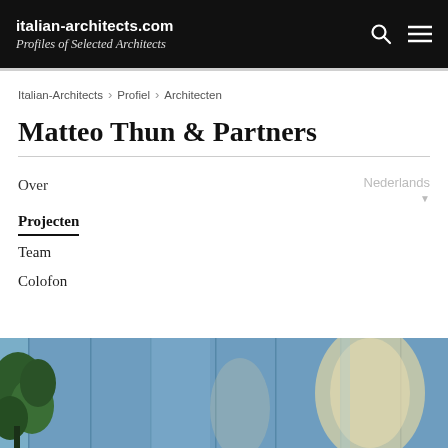italian-architects.com — Profiles of Selected Architects
Italian-Architects > Profiel > Architecten
Matteo Thun & Partners
Over
Projecten
Team
Colofon
[Figure (photo): Architectural photo showing a modern glass facade building at dusk with blue reflective glass panels and warm interior lighting visible through curved openings, with trees in the foreground left.]